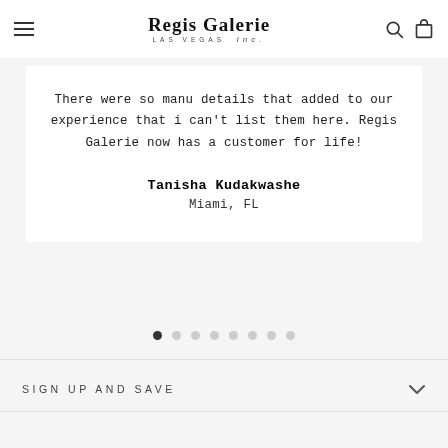Regis Galerie LAS VEGAS Inc.
There were so manu details that added to our experience that i can't list them here. Regis Galerie now has a customer for life!
Tanisha Kudakwashe
Miami, FL
[Figure (other): Carousel pagination dots — 8 dots, first one filled/active, rest outlined/grey]
SIGN UP AND SAVE